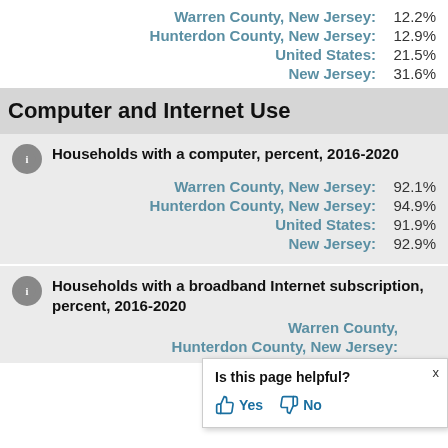Warren County, New Jersey: 12.2%
Hunterdon County, New Jersey: 12.9%
United States: 21.5%
New Jersey: 31.6%
Computer and Internet Use
Households with a computer, percent, 2016-2020
Warren County, New Jersey: 92.1%
Hunterdon County, New Jersey: 94.9%
United States: 91.9%
New Jersey: 92.9%
Households with a broadband Internet subscription, percent, 2016-2020
Warren County, New Jersey:
Hunterdon County, New Jersey:
Is this page helpful? Yes No